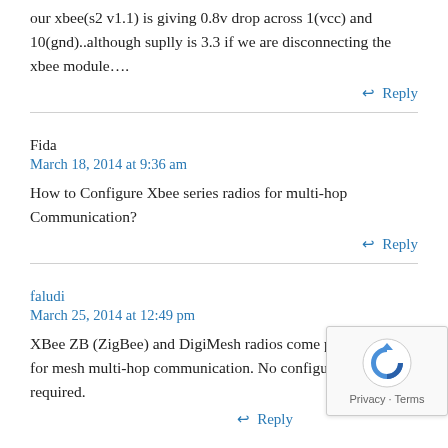our xbee(s2 v1.1) is giving 0.8v drop across 1(vcc) and 10(gnd)..although suplly is 3.3 if we are disconnecting the xbee module….
Reply
Fida
March 18, 2014 at 9:36 am
How to Configure Xbee series radios for multi-hop Communication?
Reply
faludi
March 25, 2014 at 12:49 pm
XBee ZB (ZigBee) and DigiMesh radios come pre-configured for mesh multi-hop communication. No configuration is required.
Reply